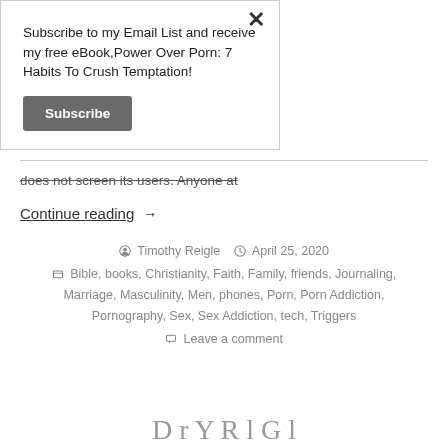Subscribe to my Email List and receive my free eBook,Power Over Porn: 7 Habits To Crush Temptation!
Subscribe
does not screen its users. Anyone at
Continue reading →
Timothy Reigle  April 25, 2020
Bible, books, Christianity, Faith, Family, friends, Journaling, Marriage, Masculinity, Men, phones, Porn, Porn Addiction, Pornography, Sex, Sex Addiction, tech, Triggers
Leave a comment
D…r…Y…R…l G…l